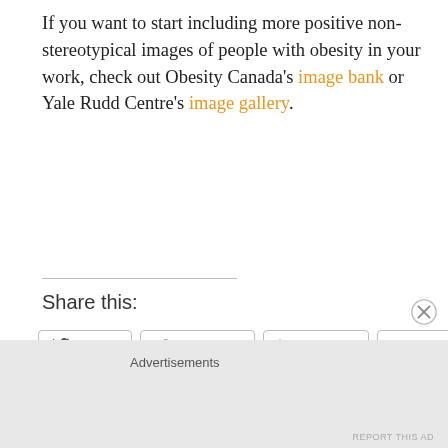If you want to start including more positive non-stereotypical images of people with obesity in your work, check out Obesity Canada's image bank or Yale Rudd Centre's image gallery.
Share this:
Twitter | Facebook | LinkedIn | Email | Tumblr | Print | Reddit | Pinterest
Loading...
Advertisements